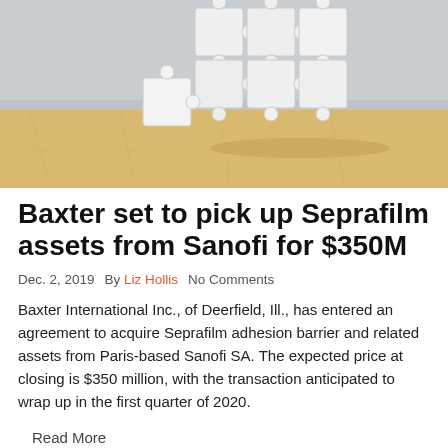[Figure (photo): Jigsaw puzzle pieces assembled into a square block, standing on a wooden surface against a light grey background.]
Baxter set to pick up Seprafilm assets from Sanofi for $350M
Dec. 2, 2019   By Liz Hollis   No Comments
Baxter International Inc., of Deerfield, Ill., has entered an agreement to acquire Seprafilm adhesion barrier and related assets from Paris-based Sanofi SA. The expected price at closing is $350 million, with the transaction anticipated to wrap up in the first quarter of 2020.
Read More